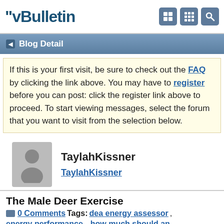vBulletin
Blog Detail
If this is your first visit, be sure to check out the FAQ by clicking the link above. You may have to register before you can post: click the register link above to proceed. To start viewing messages, select the forum that you want to visit from the selection below.
TaylahKissner
The Male Deer Exercise
0 Comments Tags: dea energy assessor, energy performance., how much should an.
Your body can not produce as well as store water, this is the main reason why it is important to replace all liquids that are shed throughout workout. If you do not after that